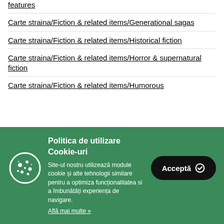features
Carte straina/Fiction & related items/Generational sagas
Carte straina/Fiction & related items/Historical fiction
Carte straina/Fiction & related items/Horror & supernatural fiction
Carte straina/Fiction & related items/Humorous
[Figure (screenshot): Cookie consent banner with green background, cookie icon, title 'Politica de utilizare Cookie-uri', body text about site cookie usage, 'Afla mai multe' link, and black 'Accepta' button with checkmark icon.]
Politica de utilizare Cookie-uri
Site-ul nostru utilizează module cookie și alte tehnologii similare pentru a optimiza funcționalitatea si a îmbunătăți experiența de navigare.
Află mai multe »